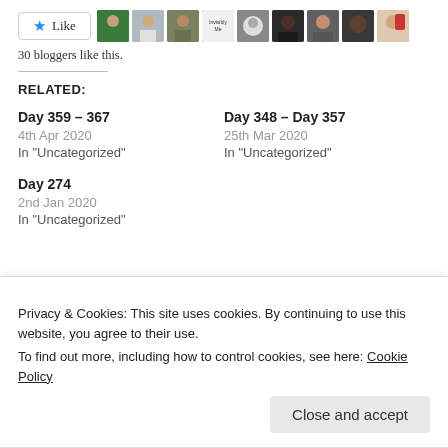[Figure (other): Like button with star icon followed by a strip of 9 blogger avatar thumbnails]
30 bloggers like this.
RELATED:
Day 359 – 367
4th Apr 2020
In "Uncategorized"
Day 348 – Day 357
25th Mar 2020
In "Uncategorized"
Day 274
2nd Jan 2020
In "Uncategorized"
Privacy & Cookies: This site uses cookies. By continuing to use this website, you agree to their use.
To find out more, including how to control cookies, see here: Cookie Policy